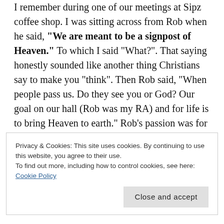I remember during one of our meetings at Sipz coffee shop. I was sitting across from Rob when he said, "We are meant to be a signpost of Heaven." To which I said "What?". That saying honestly sounded like another thing Christians say to make you "think". Then Rob said, "When people pass us. Do they see you or God? Our goal on our hall (Rob was my RA) and for life is to bring Heaven to earth." Rob's passion was for one-on-one mentorship. At the end of the year, he challenged me to mentor someone in my hometown.
Privacy & Cookies: This site uses cookies. By continuing to use this website, you agree to their use.
To find out more, including how to control cookies, see here: Cookie Policy
Close and accept